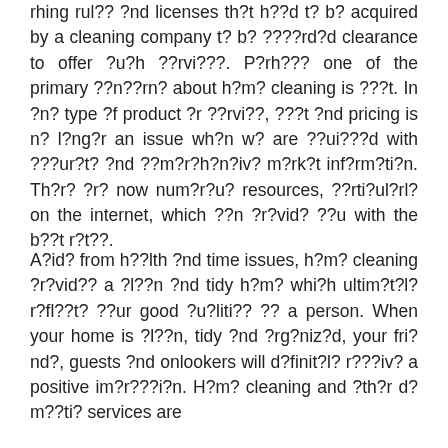rhing rul?? ?nd licenses th?t h??d t? b? acquired by a cleaning company t? b? ????rd?d clearance to offer ?u?h ??rvi???. P?rh??? one of the primary ??n??rn? about h?m? cleaning is ???t. In ?n? type ?f product ?r ??rvi??, ???t ?nd pricing is n? l?ng?r an issue wh?n w? are ??ui???d with ???ur?t? ?nd ??m?r?h?n?iv? m?rk?t inf?rm?ti?n. Th?r? ?r? now num?r?u? resources, ??rti?ul?rl? on the internet, which ??n ?r?vid? ??u with the b??t r?t??.
A?id? from h??lth ?nd time issues, h?m? cleaning ?r?vid?? a ?l??n ?nd tidy h?m? whi?h ultim?t?l? r?fl??t? ??ur good ?u?liti?? ?? a person. When your home is ?l??n, tidy ?nd ?rg?niz?d, your fri?nd?, guests ?nd onlookers will d?finit?l? r???iv? a positive im?r???i?n. H?m? cleaning and ?th?r d?m??ti? services are